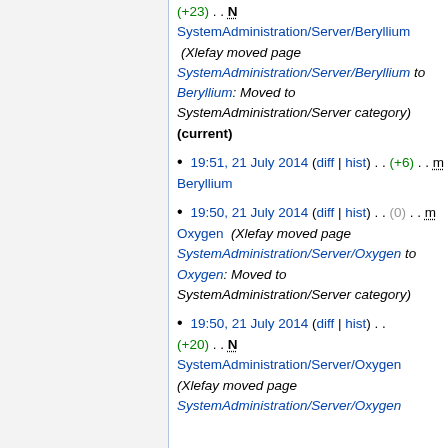(+23) . . N SystemAdministration/Server/Beryllium (Xlefay moved page SystemAdministration/Server/Beryllium to Beryllium: Moved to SystemAdministration/Server category) (current)
19:51, 21 July 2014 (diff | hist) . . (+6) . . m Beryllium
19:50, 21 July 2014 (diff | hist) . . (0) . . m Oxygen (Xlefay moved page SystemAdministration/Server/Oxygen to Oxygen: Moved to SystemAdministration/Server category)
19:50, 21 July 2014 (diff | hist) . . (+20) . . N SystemAdministration/Server/Oxygen (Xlefay moved page SystemAdministration/Server/Oxygen